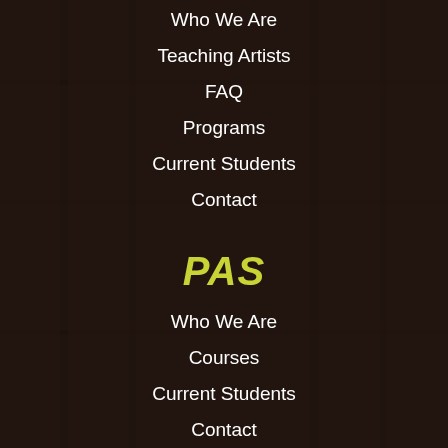Who We Are
Teaching Artists
FAQ
Programs
Current Students
Contact
PAS
Who We Are
Courses
Current Students
Contact